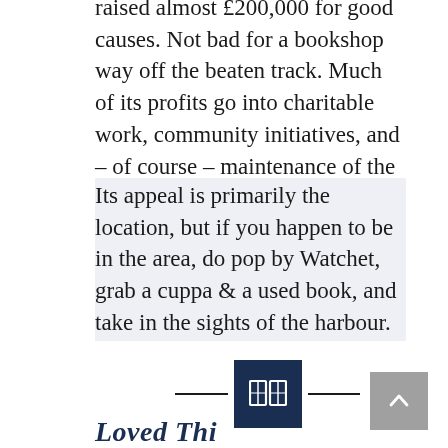raised almost £200,000 for good causes. Not bad for a bookshop way off the beaten track. Much of its profits go into charitable work, community initiatives, and – of course – maintenance of the shop.
Its appeal is primarily the location, but if you happen to be in the area, do pop by Watchet, grab a cuppa & a used book, and take in the sights of the harbour.
[Figure (illustration): Decorative section divider with two horizontal lines flanking a dark navy square containing an open book icon]
[Figure (other): Grey scroll-to-top button with upward arrow in bottom right corner]
Loved This